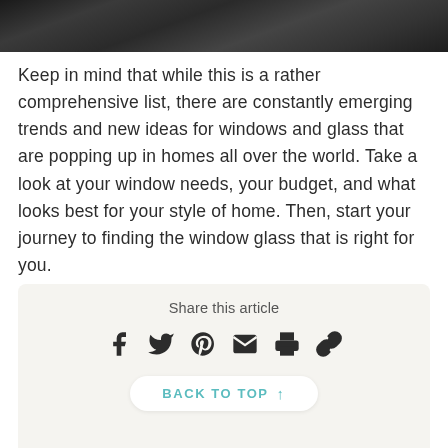[Figure (photo): Partial dark black-and-white photo at the top of the page, appears to be a wooden structure or ceiling]
Keep in mind that while this is a rather comprehensive list, there are constantly emerging trends and new ideas for windows and glass that are popping up in homes all over the world. Take a look at your window needs, your budget, and what looks best for your style of home. Then, start your journey to finding the window glass that is right for you.
Share this article
[Figure (infographic): Row of social share icons: Facebook, Twitter, Pinterest, Email, Print, Link]
BACK TO TOP ↑